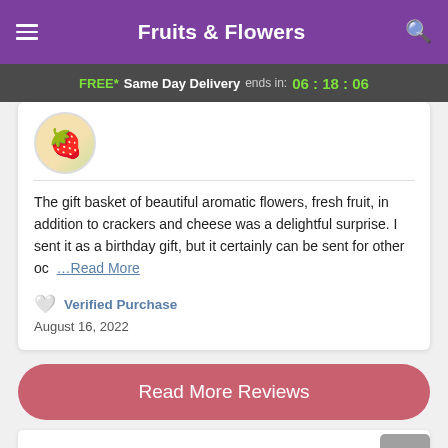Fruits & Flowers
FREE* Same Day Delivery ends in: 06 : 18 : 06
[Figure (photo): Circular thumbnail image of a fruit and flower gift basket]
The gift basket of beautiful aromatic flowers, fresh fruit, in addition to crackers and cheese was a delightful surprise. I sent it as a birthday gift, but it certainly can be sent for other oc  …Read More
Verified Purchase
August 16, 2022
Read More Reviews
[Figure (screenshot): Partial bottom card area with scroll-to-top button]